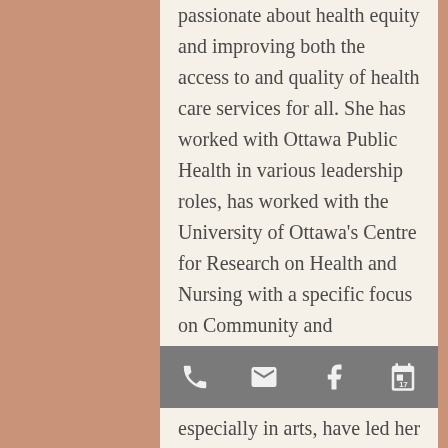passionate about health equity and improving both the access to and quality of health care services for all. She has worked with Ottawa Public Health in various leadership roles, has worked with the University of Ottawa's Centre for Research on Health and Nursing with a specific focus on Community and Indigenous Health, and has even worked in Vascular Surgery.
Tara loves all things aesthetics, and has an appreciation for both the science and art aspects of medical
especially in arts, have led her to win